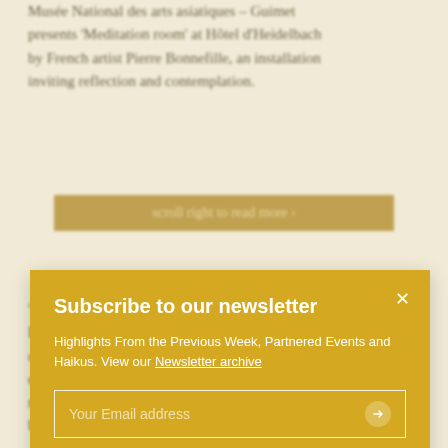Musée National des arts asiatiques – Guimet presents 'Meditation room' at Hôtel d'Heidelbach by French artist Pierre Bonnefille, an installation inviting reflection and contemplation.
[Figure (screenshot): Blurred button with text 'scroll right to read more ›']
Subscribe to our newsletter
Highlights From the Previous Week, Partnered Events and Haikus. View our Newsletter archive
Your Email address
'Meditation room' at Hôtel d'Heidelbach by French artist Pierre Bonnefille. Invited by the Musée Guimet at the occasion of Paris Design Week 2021. Bonnefille has created a space that invites contemplation and reflection. Alongside this is a series of works and pieces by furniture inspired by Asia in conversation with the